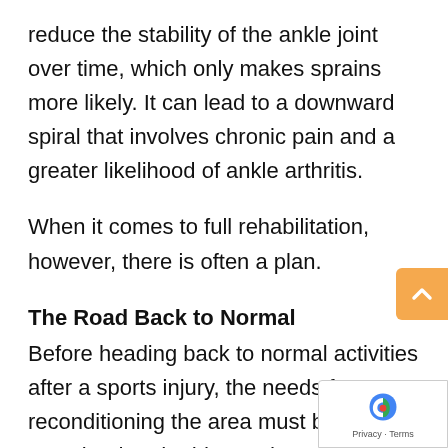reduce the stability of the ankle joint over time, which only makes sprains more likely. It can lead to a downward spiral that involves chronic pain and a greater likelihood of ankle arthritis.
When it comes to full rehabilitation, however, there is often a plan.
The Road Back to Normal
Before heading back to normal activities after a sports injury, the needs for reconditioning the area must be examined and addressed. A good plan often involves a regimen of exercises and routines that gradually rebuild the needed element, and may also involve additional measures to help